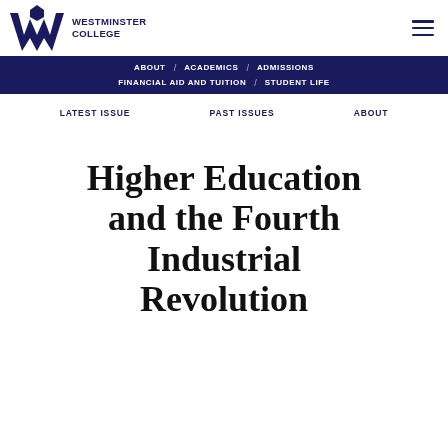[Figure (logo): Westminster College logo: stylized W mark in dark navy blue on left, college name text on right]
ABOUT / ACADEMICS / ADMISSIONS / FINANCIAL AID AND TUITION / STUDENT LIFE
LATEST ISSUE    PAST ISSUES    ABOUT
Higher Education and the Fourth Industrial Revolution